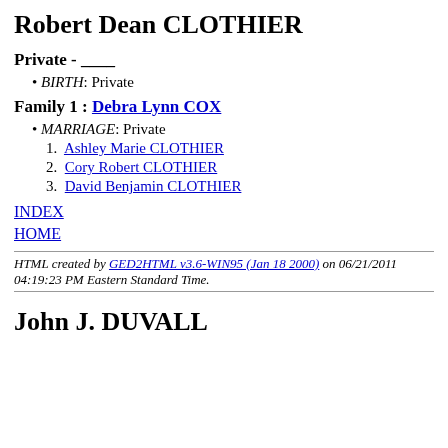Robert Dean CLOTHIER
Private - ____
BIRTH: Private
Family 1 : Debra Lynn COX
MARRIAGE: Private
1. Ashley Marie CLOTHIER
2. Cory Robert CLOTHIER
3. David Benjamin CLOTHIER
INDEX
HOME
HTML created by GED2HTML v3.6-WIN95 (Jan 18 2000) on 06/21/2011 04:19:23 PM Eastern Standard Time.
John J. DUVALL